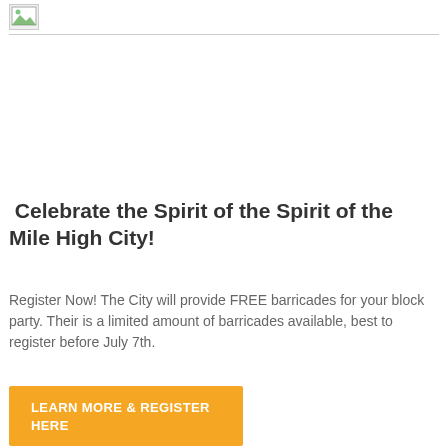[Figure (other): Broken image placeholder icon with horizontal divider line below]
Celebrate the Spirit of the Spirit of the Mile High City!
Register Now! The City will provide FREE barricades for your block party. Their is a limited amount of barricades available, best to register before July 7th.
LEARN MORE & REGISTER HERE
June 21, 2017 in Culture